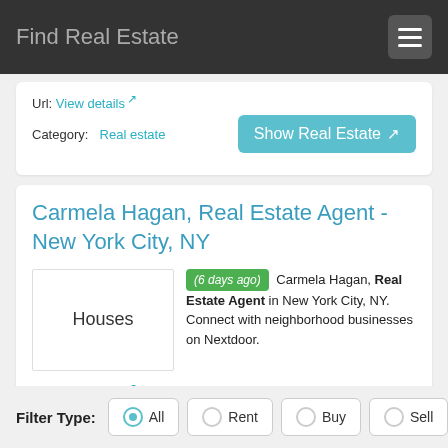Find Real Estate
Url: View details
Category: Real estate
Carmela Hagan, Real Estate Agent - New York City, NY
(6 days ago) Carmela Hagan, Real Estate Agent in New York City, NY. Connect with neighborhood businesses on Nextdoor.
Url: View details
Category: Real estate, New york
Filter Type: All Rent Buy Sell